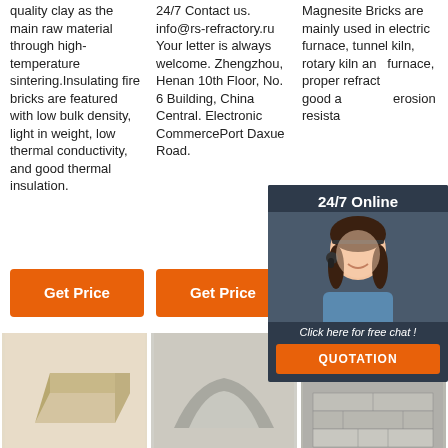quality clay as the main raw material through high-temperature sintering.Insulating fire bricks are featured with low bulk density, light in weight, low thermal conductivity, and good thermal insulation.
24/7 Contact us. info@rs-refractory.ru Your letter is always welcome. Zhengzhou, Henan 10th Floor, No. 6 Building, China Central. Electronic CommercePort Daxue Road.
Magnesite Bricks are mainly used in electric furnace, tunnel kiln, rotary kiln and other furnace, with properties of refractoriness, good alkali and erosion resistance.
[Figure (other): 24/7 Online chat widget with agent photo, 'Click here for free chat!' text, and orange QUOTATION button]
[Figure (other): Orange TOP back-to-top badge with dots]
[Figure (photo): Product image: beige/tan refractory brick]
[Figure (photo): Product image: grey shaped refractory brick]
[Figure (photo): Product image: stack of light grey refractory bricks]